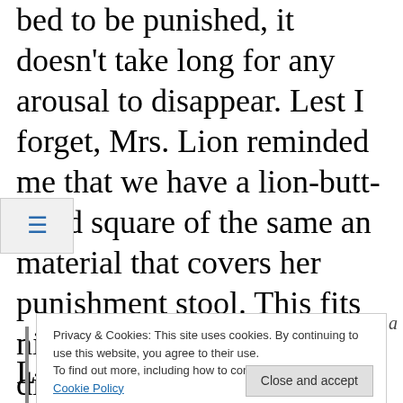bed to be punished, it doesn't take long for any arousal to disappear. Lest I forget, Mrs. Lion reminded me that we have a lion-butt-sized square of the same an material that covers her punishment stool. This fits nicely on the cushion of my dining room chair in the camper. It's stowed and ready for her use.
Privacy & Cookies: This site uses cookies. By continuing to use this website, you agree to their use.
To find out more, including how to control cookies, see here:
Cookie Policy
Close and accept
L
a